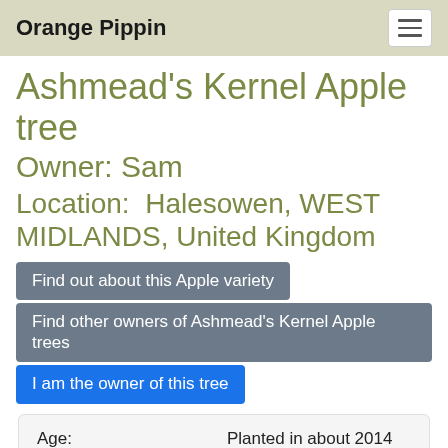Orange Pippin
Ashmead's Kernel Apple tree
Owner: Sam
Location:  Halesowen, WEST MIDLANDS, United Kingdom
Find out about this Apple variety
Find other owners of Ashmead's Kernel Apple trees
I am the owner of this tree
| Field | Value |
| --- | --- |
| Age: | Planted in about 2014 |
| Age of this tree: | 10 years |
| Tree form: | Bush (wider at top than |